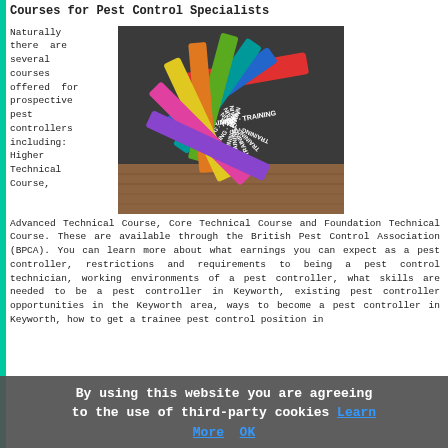Courses for Pest Control Specialists
Naturally there are several courses offered for prospective pest controllers including: Higher Technical Course, Advanced Technical Course, Core Technical Course and Foundation Technical Course. These are available through the British Pest Control Association (BPCA). You can learn more about what earnings you can expect as a pest controller, restrictions and requirements to being a pest control technician, working environments of a pest controller, what skills are needed to be a pest controller in Keyworth, existing pest controller opportunities in the Keyworth area, ways to become a pest controller in Keyworth, how to get a trainee pest control position in
[Figure (photo): Colorful training ribbons/bands arranged in a fan/flower shape on a wooden surface against a dark background, with text 'TRAINING' visible on the bands]
By using this website you are agreeing to the use of third-party cookies Learn More OK